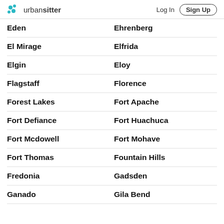urbansitter — Log In | Sign Up
Eden
Ehrenberg
El Mirage
Elfrida
Elgin
Eloy
Flagstaff
Florence
Forest Lakes
Fort Apache
Fort Defiance
Fort Huachuca
Fort Mcdowell
Fort Mohave
Fort Thomas
Fountain Hills
Fredonia
Gadsden
Ganado
Gila Bend